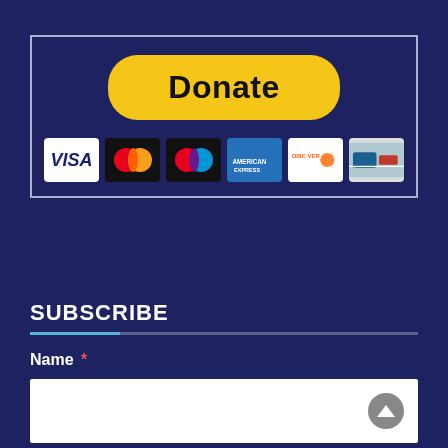[Figure (screenshot): PayPal Donate button (yellow pill-shaped button with 'Donate' text) above a row of payment card logos: Visa, Mastercard, Maestro, American Express, Discover, and one other card, all inside a bordered box on a dark navy background.]
SUBSCRIBE
Name *
Full Name